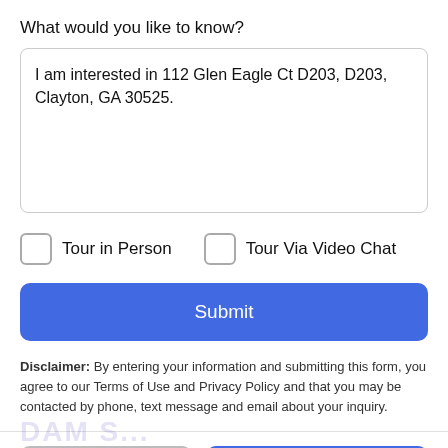What would you like to know?
I am interested in 112 Glen Eagle Ct D203, D203, Clayton, GA 30525.
Tour in Person
Tour Via Video Chat
Submit
Disclaimer: By entering your information and submitting this form, you agree to our Terms of Use and Privacy Policy and that you may be contacted by phone, text message and email about your inquiry.
Take a Tour
Ask A Question